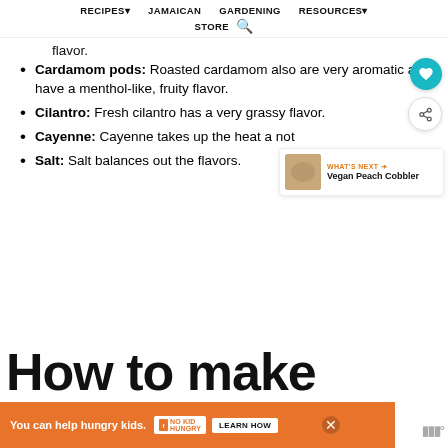RECIPES▼  JAMAICAN  GARDENING  RESOURCES▼  STORE 🔍
flavor.
Cardamom pods: Roasted cardamom also are very aromatic and have a menthol-like, fruity flavor.
Cilantro: Fresh cilantro has a very grassy flavor.
Cayenne: Cayenne takes up the heat a not
Salt: Salt balances out the flavors.
How to make
You can help hungry kids. NO KID HUNGRY LEARN HOW